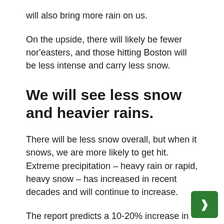will also bring more rain on us.
On the upside, there will likely be fewer nor'easters, and those hitting Boston will be less intense and carry less snow.
We will see less snow and heavier rains.
There will be less snow overall, but when it snows, we are more likely to get hit. Extreme precipitation – heavy rain or rapid, heavy snow – has increased in recent decades and will continue to increase.
The report predicts a 10-20% increase in daily